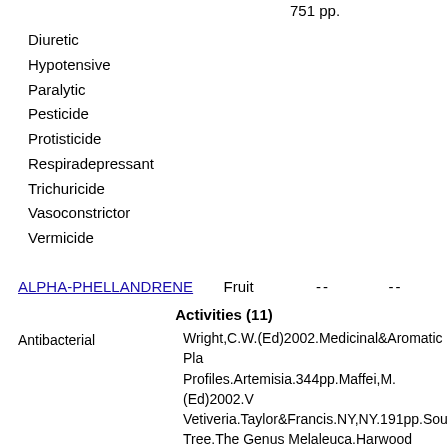751 pp.
Diuretic
Hypotensive
Paralytic
Pesticide
Protisticide
Respiradepressant
Trichuricide
Vasoconstrictor
Vermicide
ALPHA-PHELLANDRENE    Fruit    --    --
Activities (11)
| Activity | Reference |
| --- | --- |
| Antibacterial | Wright,C.W.(Ed)2002.Medicinal&Aromatic Pla... Profiles.Artemisia.344pp.Maffei,M.(Ed)2002.V... Vetiveria.Taylor&Francis.NY,NY.191pp.Southw... Tree.The Genus Melaleuca.Harwood Acad.Pub. |
| Antistaphylococcic | Wright,C.W.(Ed)2002.Medicinal&Aromatic Pla... Profiles.Artemisia.344pp.Maffei,M.(Ed)2002.V... Vetiveria.Taylor&Francis.NY,NY.191pp.Southw... Tree.The Genus Melaleuca.Harwood Acad.Pub. |
| Dermal | Jeffery B. Harborne and H. Baxter, eds. 1983. P... Handbook of Bioactive Compounds from Plants... |